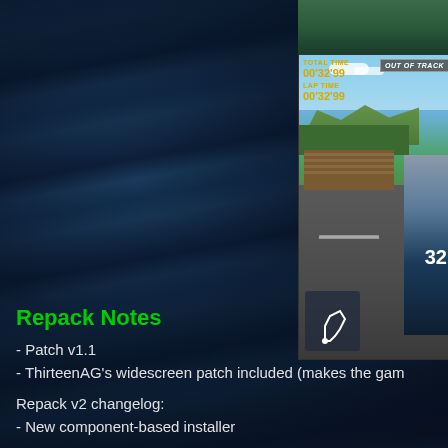[Figure (screenshot): Racing video game screenshot showing a track view with HUD displaying TOTAL TIME 00'32'99 and LAP TIME 00'32'99, OUT OF TRACK warning, a mini-map of the circuit, and a racing car visible on the right side]
Repack Notes
- Patch v1.1
- ThirteenAG's widescreen patch included (makes the gam
Repack v2 changelog:
- New component-based installer